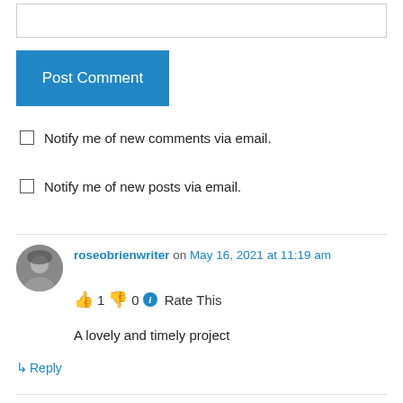[Figure (screenshot): Text input box (empty)]
[Figure (screenshot): Blue 'Post Comment' button]
Notify me of new comments via email.
Notify me of new posts via email.
roseobrienwriter on May 16, 2021 at 11:19 am
👍 1 👎 0 ℹ Rate This
A lovely and timely project
↳ Reply